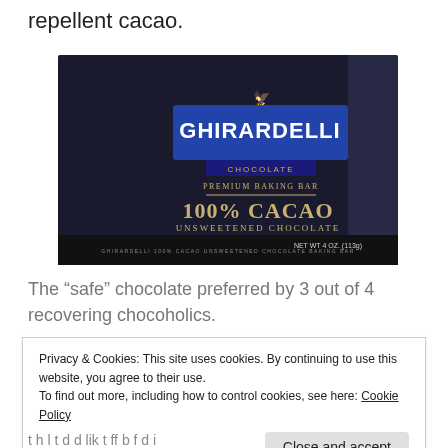repellent cacao.
[Figure (photo): Ghirardelli 100% Cacao Unsweetened Chocolate Premium Baking Bar, NET WT 4 oz. (113g), shown in black packaging with blue Ghirardelli logo label]
The “safe” chocolate preferred by 3 out of 4 recovering chocoholics.
Privacy & Cookies: This site uses cookies. By continuing to use this website, you agree to their use.
To find out more, including how to control cookies, see here: Cookie Policy
Close and accept
t h l t d d lik t ff b f d i